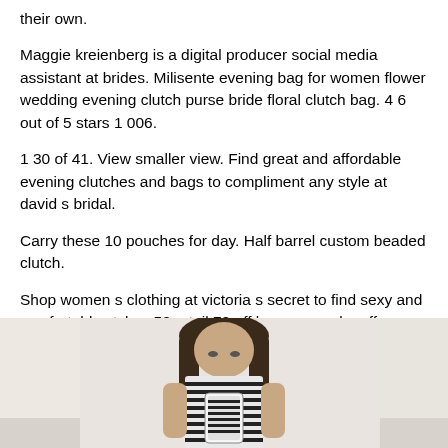their own.
Maggie kreienberg is a digital producer social media assistant at brides. Milisente evening bag for women flower wedding evening clutch purse bride floral clutch bag. 4 6 out of 5 stars 1 006.
1 30 of 41. View smaller view. Find great and affordable evening clutches and bags to compliment any style at david s bridal.
Carry these 10 pouches for day. Half barrel custom beaded clutch.
Shop women s clothing at victoria s secret to find sexy and comfortable styles. 50 retail 70 off buy now make offer super cute and soft material.
[Figure (photo): A woman with long dark hair looking down at her phone/camera, taking a selfie in what appears to be a dressing room or mirror setting, wearing a striped top.]